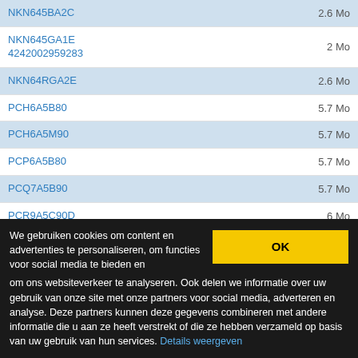NKN645BA2C  2.6 Mo
NKN645GA1E 4242002959283  2 Mo
NKN64RGA2E  2.6 Mo
PCH6A5B80  5.7 Mo
PCH6A5M90  5.7 Mo
PCP6A5B80  5.7 Mo
PCQ7A5B90  5.7 Mo
PCR9A5C90D  6 Mo
We gebruiken cookies om content en advertenties te personaliseren, om functies voor social media te bieden en om ons websiteverkeer te analyseren. Ook delen we informatie over uw gebruik van onze site met onze partners voor social media, adverteren en analyse. Deze partners kunnen deze gegevens combineren met andere informatie die u aan ze heeft verstrekt of die ze hebben verzameld op basis van uw gebruik van hun services. Details weergeven